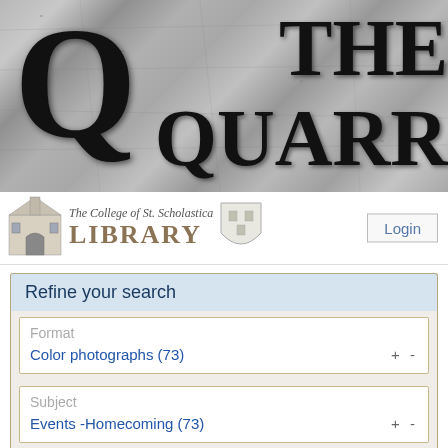[Figure (logo): The Quarry banner header with large decorative Q and stone texture background, showing 'THE QUARR' text in serif font]
[Figure (logo): The College of St. Scholastica Library logo with building illustration, college name in italic, LIBRARY in bold, and shield crest]
Login
Refine your search
Format
Color photographs (73)
Subject
Events -Homecoming (73)